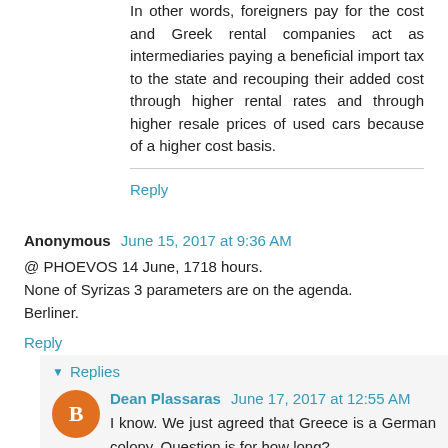In other words, foreigners pay for the cost and Greek rental companies act as intermediaries paying a beneficial import tax to the state and recouping their added cost through higher rental rates and through higher resale prices of used cars because of a higher cost basis.
Reply
Anonymous  June 15, 2017 at 9:36 AM
@ PHOEVOS 14 June, 1718 hours.
None of Syrizas 3 parameters are on the agenda.
Berliner.
Reply
Replies
Dean Plassaras  June 17, 2017 at 12:55 AM
I know. We just agreed that Greece is a German colony. Question is for how long?